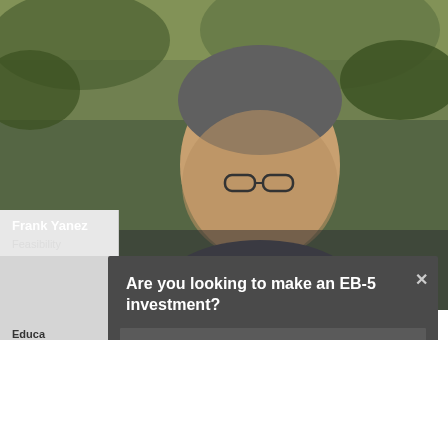[Figure (screenshot): Background showing a person (Frank Yanez) with outdoor foliage behind, partially visible profile card with name Frank Yanez and role Feasibility, and education/fund labels partially cut off.]
Frank Yanez
Feasibility
Educa
Fund A
Are you looking to make an EB-5 investment?
Yes
No
Other
Send